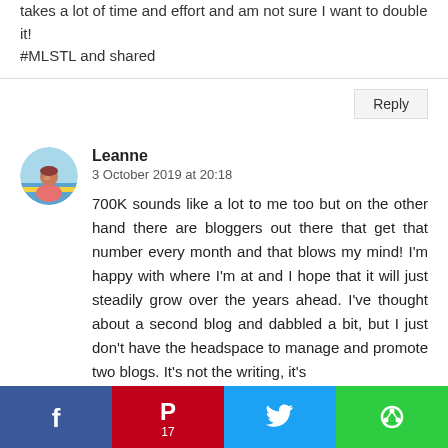takes a lot of time and effort and am not sure I want to double it!
#MLSTL and shared
Reply
Leanne
3 October 2019 at 20:18
700K sounds like a lot to me too but on the other hand there are bloggers out there that get that number every month and that blows my mind! I'm happy with where I'm at and I hope that it will just steadily grow over the years ahead. I've thought about a second blog and dabbled a bit, but I just don't have the headspace to manage and promote two blogs. It's not the writing, it's the sharing and trying to get some momentum...
[Figure (infographic): Social media share bar at bottom with Facebook, Pinterest (17), Twitter, and a green share button]